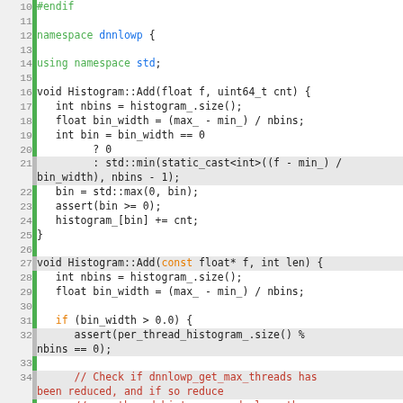[Figure (screenshot): Source code screenshot showing C++ code for Histogram::Add methods in dnnlowp namespace, lines 10-39, with syntax highlighting (green keywords, blue identifiers, orange conditionals, red comments).]